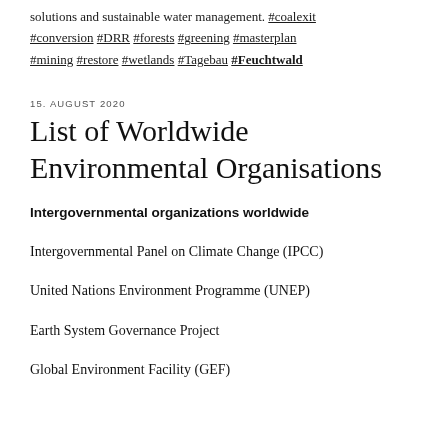solutions and sustainable water management. #coalexit #conversion #DRR #forests #greening #masterplan #mining #restore #wetlands #Tagebau #Feuchtwald
15. AUGUST 2020
List of Worldwide Environmental Organisations
Intergovernmental organizations worldwide
Intergovernmental Panel on Climate Change (IPCC)
United Nations Environment Programme (UNEP)
Earth System Governance Project
Global Environment Facility (GEF)